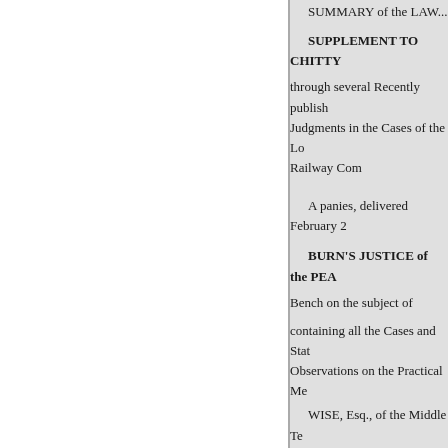SUMMARY of the LAW...
SUPPLEMENT TO CHITTY through several Recently published Judgments in the Cases of the Lo Railway Com
A panies, delivered February 2
BURN'S JUSTICE of the PEA Bench on the subject of
containing all the Cases and Stat Observations on the Practical Me
WISE, Esq., of the Middle Te HODGSON, Esq., of Lin
The complete Work, with the Ludlow.
71. 10. in cloth boards. "To sh
London: S. Sweet, 1, Chancer can recommend it as being an ex
Stevens & G. S. Norton, 26, B of the subject on which it profes